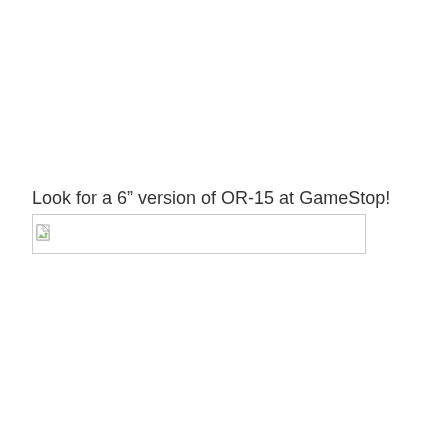Look for a 6" version of OR-15 at GameStop!
[Figure (other): Broken image placeholder with a small torn-image icon inside a rectangular border, representing a missing product image.]